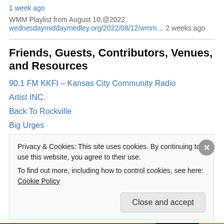1 week ago
WMM Playlist from August 10,@2022
wednesdaymiddaymedley.org/2022/08/12/wmm… 2 weeks ago
Friends, Guests, Contributors, Venues, and Resources
90.1 FM KKFI – Kansas City Community Radio
Artist INC.
Back To Rockville
Big Urges
Black Site Records
Privacy & Cookies: This site uses cookies. By continuing to use this website, you agree to their use. To find out more, including how to control cookies, see here: Cookie Policy
Close and accept